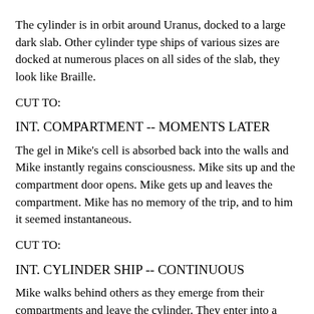The cylinder is in orbit around Uranus, docked to a large dark slab. Other cylinder type ships of various sizes are docked at numerous places on all sides of the slab, they look like Braille.
CUT TO:
INT. COMPARTMENT -- MOMENTS LATER
The gel in Mike's cell is absorbed back into the walls and Mike instantly regains consciousness. Mike sits up and the compartment door opens. Mike gets up and leaves the compartment. Mike has no memory of the trip, and to him it seemed instantaneous.
CUT TO:
INT. CYLINDER SHIP -- CONTINUOUS
Mike walks behind others as they emerge from their compartments and leave the cylinder. They enter into a large glassed in gallery that is facing the planet Uranus.
CUT TO:
INT. SPACE STATION ORBITING URANUS